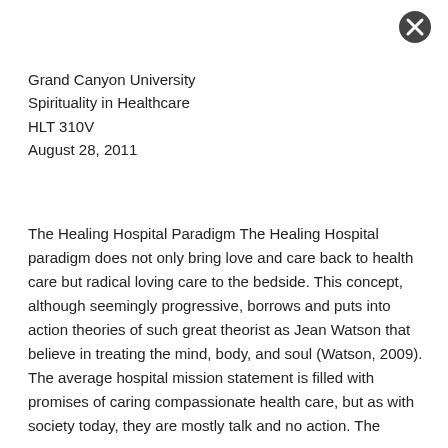[Figure (other): Close/dismiss button (circle with X) in top-right corner]
Grand Canyon University
Spirituality in Healthcare
HLT 310V
August 28, 2011
The Healing Hospital Paradigm The Healing Hospital paradigm does not only bring love and care back to health care but radical loving care to the bedside. This concept, although seemingly progressive, borrows and puts into action theories of such great theorist as Jean Watson that believe in treating the mind, body, and soul (Watson, 2009). The average hospital mission statement is filled with promises of caring compassionate health care, but as with society today, they are mostly talk and no action. The